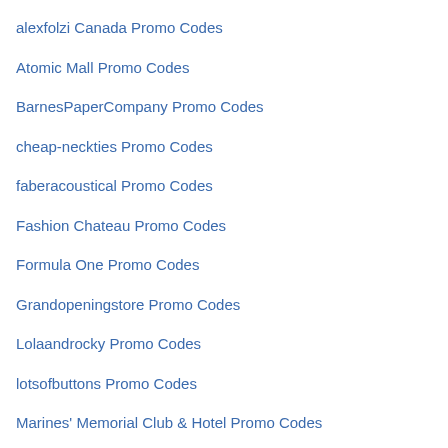alexfolzi Canada Promo Codes
Atomic Mall Promo Codes
BarnesPaperCompany Promo Codes
cheap-neckties Promo Codes
faberacoustical Promo Codes
Fashion Chateau Promo Codes
Formula One Promo Codes
Grandopeningstore Promo Codes
Lolaandrocky Promo Codes
lotsofbuttons Promo Codes
Marines' Memorial Club & Hotel Promo Codes